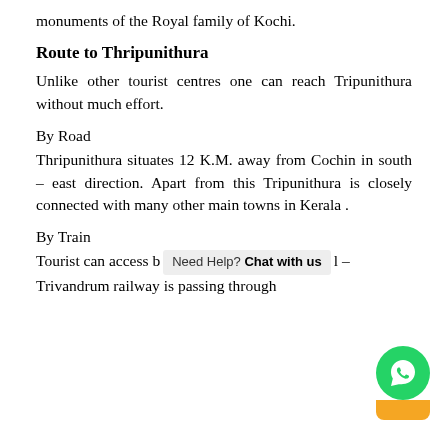monuments of the Royal family of Kochi.
Route to Thripunithura
Unlike other tourist centres one can reach Tripunithura without much effort.
By Road
Thripunithura situates 12 K.M. away from Cochin in south – east direction. Apart from this Tripunithura is closely connected with many other main towns in Kerala .
By Train
Tourist can access by [Need Help? Chat with us] – Trivandrum railway is passing through Thripunithura. Thripunithura railway station is